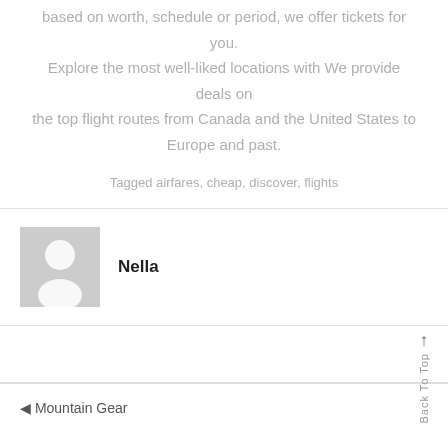based on worth, schedule or period, we offer tickets for you. Explore the most well-liked locations with We provide deals on the top flight routes from Canada and the United States to Europe and past.
Tagged airfares, cheap, discover, flights
Nella
Back To Top
◄ Mountain Gear